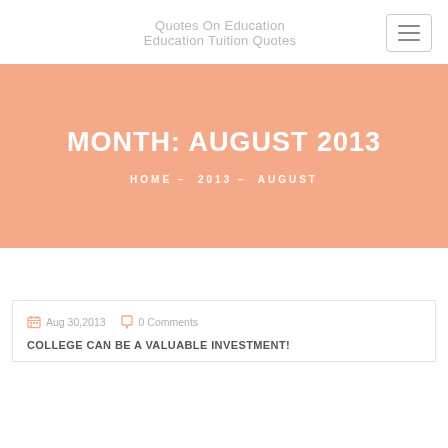Quotes On Education
Education Tuition Quotes
MONTH: AUGUST 2013
HOME – 2013 – AUGUST
Aug 30,2013  0 Comments
COLLEGE CAN BE A VALUABLE INVESTMENT!